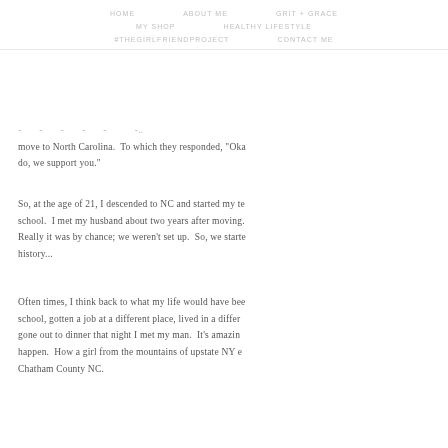HOME   ABOUT ME   GRIT + GRACE   MY SHOP   HEALTHY LIFESTYLE   #THEGIRLFRIENDPROJECT   CONTACT ME
move to North Carolina." To which they responded, "Oka do, we support you."
So, at the age of 21, I descended to NC and started my te school. I met my husband about two years after moving. Really it was by chance; we weren't set up. So, we starte history...
Often times, I think back to what my life would have bee school, gotten a job at a different place, lived in a differ gone out to dinner that night I met my man. It's amazin happen. How a girl from the mountains of upstate NY e Chatham County NC.